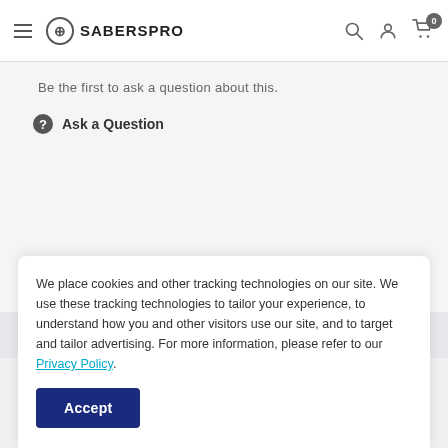SABERSPRO
Be the first to ask a question about this.
Ask a Question
Quick links
We place cookies and other tracking technologies on our site. We use these tracking technologies to tailor your experience, to understand how you and other visitors use our site, and to target and tailor advertising. For more information, please refer to our Privacy Policy.